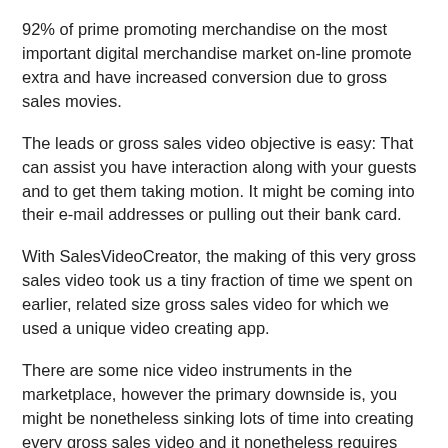92% of prime promoting merchandise on the most important digital merchandise market on-line promote extra and have increased conversion due to gross sales movies.
The leads or gross sales video objective is easy: That can assist you have interaction along with your guests and to get them taking motion. It might be coming into their e-mail addresses or pulling out their bank card.
With SalesVideoCreator, the making of this very gross sales video took us a tiny fraction of time we spent on earlier, related size gross sales video for which we used a unique video creating app.
There are some nice video instruments in the marketplace, however the primary downside is, you might be nonetheless sinking lots of time into creating every gross sales video and it nonetheless requires inventive instinct to create these movies.